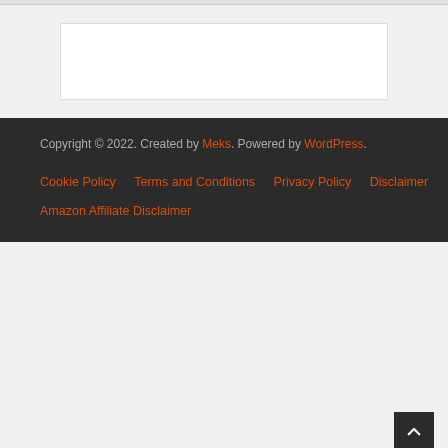Copyright © 2022. Created by Meks. Powered by WordPress.
Cookie Policy   Terms and Conditions   Privacy Policy   Disclaimer   Amazon Affiliate Disclaimer